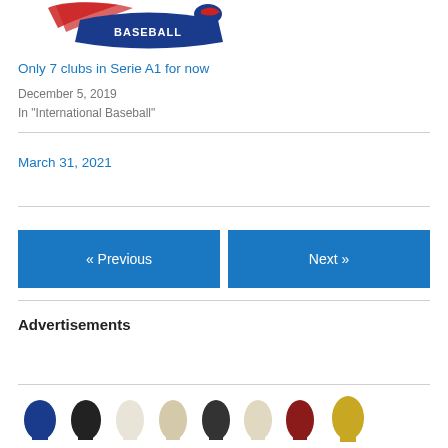[Figure (logo): Baseball logo with red and blue design showing 'BASEBALL' text]
Only 7 clubs in Serie A1 for now
December 5, 2019
In "International Baseball"
March 31, 2021
« Previous
Next »
Advertisements
[Figure (photo): Row of small figurines or knobs in various colors: blue, black, white/cream, beige, black, cream, red, gold]